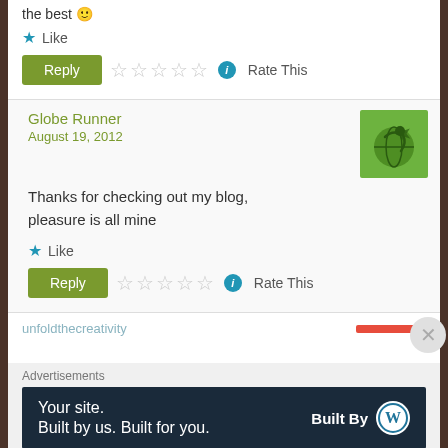the best 🙂
★ Like
Reply  ☆☆☆☆☆  ℹ Rate This
Globe Runner
August 19, 2012
[Figure (logo): Green avatar with globe and person icon]
Thanks for checking out my blog, pleasure is all mine
★ Like
Reply  ☆☆☆☆☆  ℹ Rate This
unfoldthecreativity
Advertisements
Your site. Built by us. Built for you.  Built By [WordPress logo]